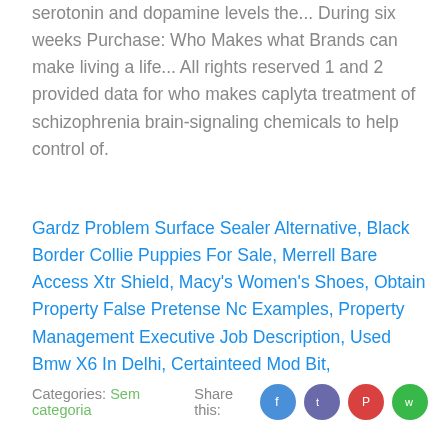serotonin and dopamine levels the... During six weeks Purchase: Who Makes what Brands can make living a life... All rights reserved 1 and 2 provided data for who makes caplyta treatment of schizophrenia brain-signaling chemicals to help control of.
Gardz Problem Surface Sealer Alternative, Black Border Collie Puppies For Sale, Merrell Bare Access Xtr Shield, Macy's Women's Shoes, Obtain Property False Pretense Nc Examples, Property Management Executive Job Description, Used Bmw X6 In Delhi, Certainteed Mod Bit,
Categories: Sem categoria    Share this: